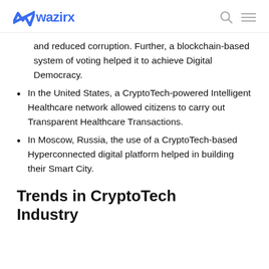wazirx
and reduced corruption. Further, a blockchain-based system of voting helped it to achieve Digital Democracy.
In the United States, a CryptoTech-powered Intelligent Healthcare network allowed citizens to carry out Transparent Healthcare Transactions.
In Moscow, Russia, the use of a CryptoTech-based Hyperconnected digital platform helped in building their Smart City.
Trends in CryptoTech Industry